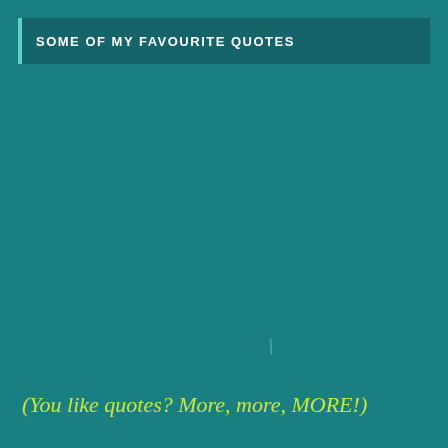SOME OF MY FAVOURITE QUOTES
(You like quotes? More, more, MORE!)